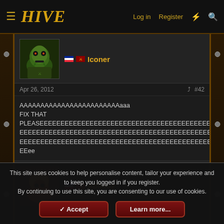HIVE — Log in  Register
Iconer
Apr 26, 2012  #42
AAAAAAAAAAAAAAAAAAAAAAAAaaa
FIX THAT
PLEASEEEEEEEEEEEEEEEEEEEEEEEEEEEEEEEEEEEEEEEEEEEEEEEEEEEEEEEEEEEEEEEEEEEEEEEEEEEEEEEEEEEEEEEEEEEEEEEEEEEEEEEEEEEEEEEEEEEEEEEEEEEEEEEEEEEEEEEEEEEEEEEEEEEEEEEEEEEEEEEEEEEEEEEEEEEEEEEEEEEEEEEEEEEEEEEEEEEEEEEEEEEEEEEEEEEEEEEEEEEEEEEEEEEEEEEEEEEEEEEEEEEEEEEEEEEEEEEEEEEEEEEEEEEEEEEEEEEEEEEEEEEEEEEEEEEEEEEEEEEEEEEEEEEEEEEEEEEEEEEEEEEEEEEEEEEEEEEEEEEEEEEEEEEEEEEEEEEEEEEEEEEEEEEEEEEEEEEEEEEEEEEEEEEEEEEEEEEEEEEEEEEEEEEEEEEEEEEEEEEEEEEEEEEEEEEEEEEEEEEEEEEEEEEEEEEEEEEEEeee
Adiktuz
This site uses cookies to help personalise content, tailor your experience and to keep you logged in if you register.
By continuing to use this site, you are consenting to our use of cookies.
Accept  Learn more...